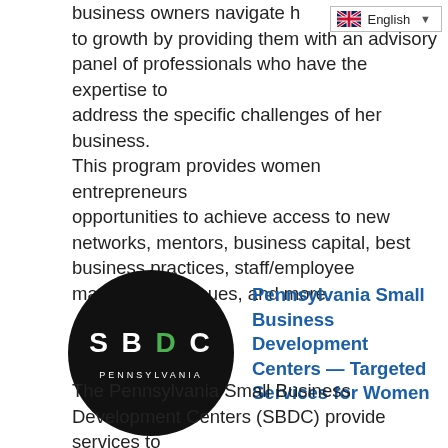business owners navigate her path to growth by providing them with an advisory panel of professionals who have the expertise to address the specific challenges of her business. This program provides women entrepreneurs opportunities to achieve access to new networks, mentors, business capital, best business practices, staff/employee management issues, and more.
[Figure (logo): SBDC Pennsylvania logo — black circle with white letters S, B, D (green), C and 'PENNSYLVANIA' below]
Pennsylvania Small Business Development Centers — Targeted Services for Women
The Pennsylvania Small Business Development Centers (SBDC) provide services to all small business populations and make special efforts to reach members of historically underrepresented and underserved